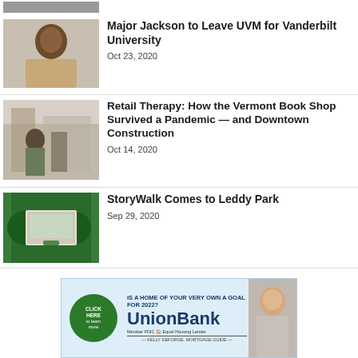[Figure (photo): Partial top image stub, cropped at top of page]
Major Jackson to Leave UVM for Vanderbilt University
Oct 23, 2020
[Figure (photo): Interior of Vermont Book Shop with masked staff and customer]
Retail Therapy: How the Vermont Book Shop Survived a Pandemic — and Downtown Construction
Oct 14, 2020
[Figure (photo): Outdoor signage/display at Leddy Park for StoryWalk]
StoryWalk Comes to Leddy Park
Sep 29, 2020
[Figure (infographic): UnionBank advertisement: IS A HOME OF YOUR VERY OWN A GOAL FOR 2022? CLICK HERE to learn more. Member FDIC Equal Housing Lender. KELLY DEFORGE, MORTGAGE GUIDE.]